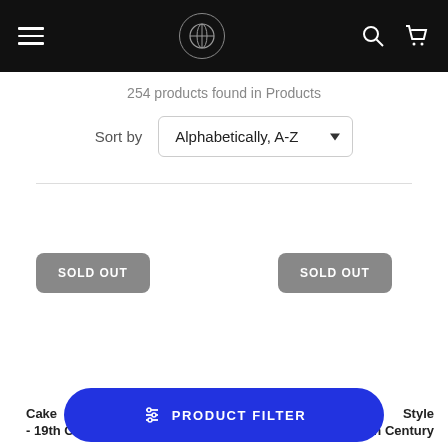[Figure (screenshot): Navigation bar with hamburger menu icon on left, circular logo in center, search and cart icons on right, all on black background]
254 products found in Products
Sort by  Alphabetically, A-Z
SOLD OUT
SOLD OUT
Cake - 19th Century
Style - 19th Century
PRODUCT FILTER